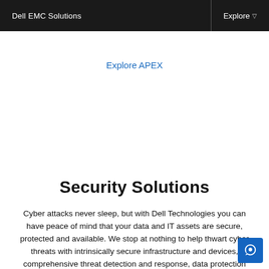Dell EMC Solutions | Explore ▽
Explore APEX
Security Solutions
Cyber attacks never sleep, but with Dell Technologies you can have peace of mind that your data and IT assets are secure, protected and available. We stop at nothing to help thwart cyber threats with intrinsically secure infrastructure and devices, comprehensive threat detection and response, data protection and cyber recovery.